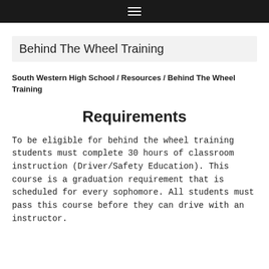≡
Behind The Wheel Training
South Western High School / Resources / Behind The Wheel Training
Requirements
To be eligible for behind the wheel training students must complete 30 hours of classroom instruction (Driver/Safety Education). This course is a graduation requirement that is scheduled for every sophomore. All students must pass this course before they can drive with an instructor.